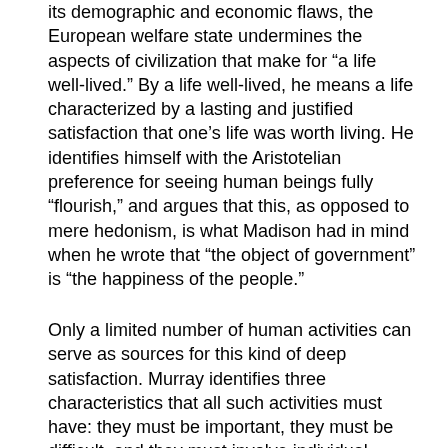its demographic and economic flaws, the European welfare state undermines the aspects of civilization that make for “a life well-lived.” By a life well-lived, he means a life characterized by a lasting and justified satisfaction that one’s life was worth living. He identifies himself with the Aristotelian preference for seeing human beings fully “flourish,” and argues that this, as opposed to mere hedonism, is what Madison had in mind when he wrote that “the object of government” is “the happiness of the people.”
Only a limited number of human activities can serve as sources for this kind of deep satisfaction. Murray identifies three characteristics that all such activities must have: they must be important, they must be difficult, and they must involve individual responsibility for consequences. Activities that must trick off the